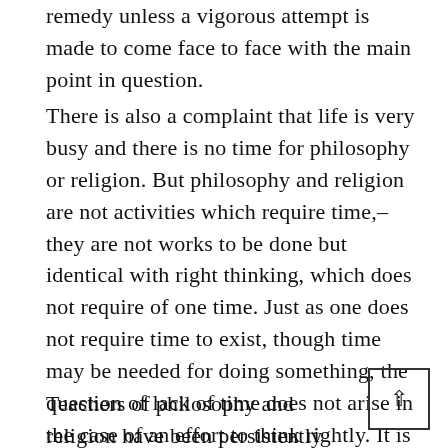remedy unless a vigorous attempt is made to come face to face with the main point in question.
There is also a complaint that life is very busy and there is no time for philosophy or religion. But philosophy and religion are not activities which require time,–they are not works to be done but identical with right thinking, which does not require of one time. Just as one does not require time to exist, though time may be needed for doing something, the question of lack of time does not arise in the case of an effort to think rightly. It is like maintenance of health, which is more a natural condition to be aspired for than a business to be dealt with or executed.
Teachers of philosophy and religion have been persistently making the mistake of suddenly commencing to teach the outer forms rather than the